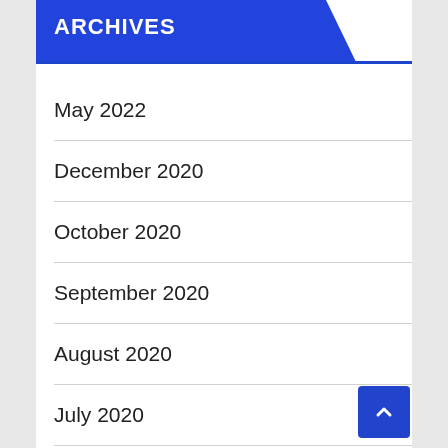ARCHIVES
May 2022
December 2020
October 2020
September 2020
August 2020
July 2020
June 2020
May 2020